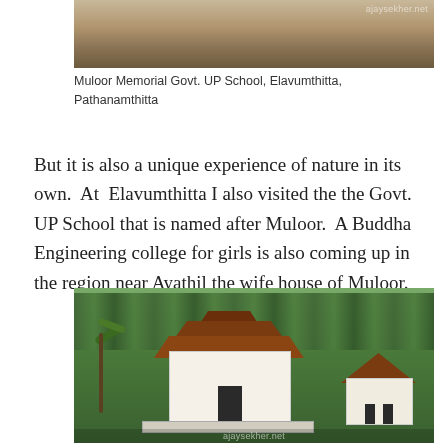[Figure (photo): Photo of Muloor Memorial Govt. UP School, Elavumthitta, Pathanamthitta — showing a building exterior with a dirt path]
Muloor Memorial Govt. UP School, Elavumthitta, Pathanamthitta
But it is also a unique experience of nature in its own.  At  Elavumthitta I also visited the the Govt. UP School that is named after Muloor.  A Buddha Engineering college for girls is also coming up in the region near Ayathil the wife house of Muloor.
[Figure (photo): Photo of a traditional Kerala-style shrine or memorial building with an octagonal tiled roof, white walls, surrounded by trees]